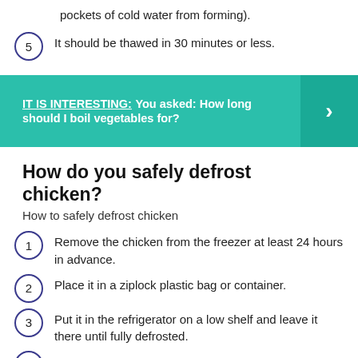pockets of cold water from forming).
5  It should be thawed in 30 minutes or less.
[Figure (infographic): Teal banner with text 'IT IS INTERESTING: You asked: How long should I boil vegetables for?' and a right-arrow chevron on a darker teal panel on the right.]
How do you safely defrost chicken?
How to safely defrost chicken
1  Remove the chicken from the freezer at least 24 hours in advance.
2  Place it in a ziplock plastic bag or container.
3  Put it in the refrigerator on a low shelf and leave it there until fully defrosted.